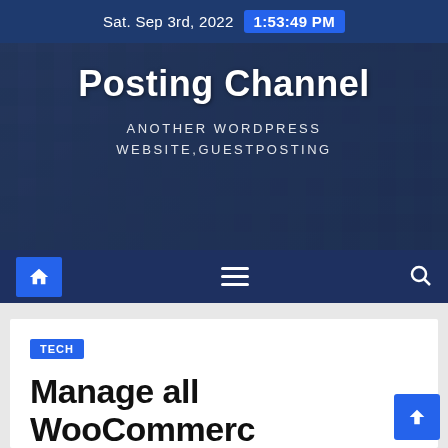Sat. Sep 3rd, 2022  1:53:49 PM
[Figure (screenshot): Hero banner with building photo background showing 'Posting Channel' website header with subtitle 'ANOTHER WORDPRESS WEBSITE,GUESTPOSTING']
Posting Channel
ANOTHER WORDPRESS WEBSITE,GUESTPOSTING
[Figure (screenshot): Navigation bar with home icon button, hamburger menu icon, and search icon on dark blue background]
TECH
Manage all WooCommerce